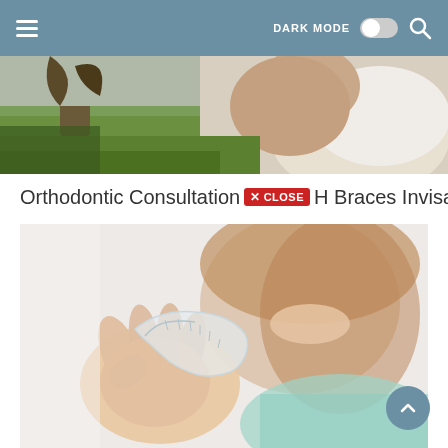DARK MODE [toggle] [search]
[Figure (photo): Cropped photo of a person outdoors, showing lower portion of face/neck and green grass/tree in background]
Orthodontic Consultation [X CLOSE] H Braces Invisalign
[Figure (photo): Young woman with long brown hair smiling, holding up a clear Invisalign dental aligner tray. She is wearing a light teal/mint tank top. Background is blurred white.]